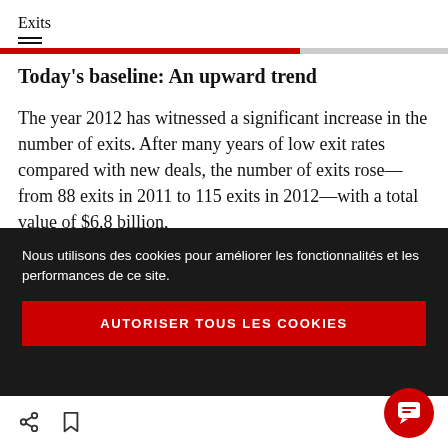Exits
Today's baseline: An upward trend
The year 2012 has witnessed a significant increase in the number of exits. After many years of low exit rates compared with new deals, the number of exits rose—from 88 exits in 2011 to 115 exits in 2012—with a total value of $6.8 billion,
Nous utilisons des cookies pour améliorer les fonctionnalités et les performances de ce site.
AUTORISER TOUS LES COOKIES